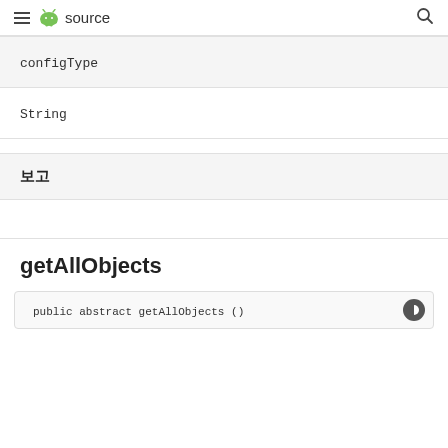≡ source 🔍
configType
String
보고
getAllObjects
public abstract getAllObjects ()